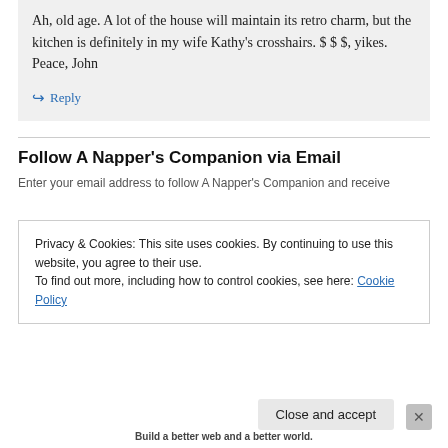Ah, old age. A lot of the house will maintain its retro charm, but the kitchen is definitely in my wife Kathy's crosshairs. $ $ $, yikes. Peace, John
↳ Reply
Follow A Napper's Companion via Email
Enter your email address to follow A Napper's Companion and receive
Privacy & Cookies: This site uses cookies. By continuing to use this website, you agree to their use.
To find out more, including how to control cookies, see here: Cookie Policy
Close and accept
Build a better web and a better world.